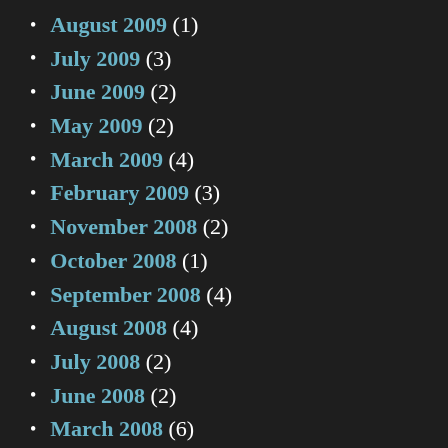August 2009 (1)
July 2009 (3)
June 2009 (2)
May 2009 (2)
March 2009 (4)
February 2009 (3)
November 2008 (2)
October 2008 (1)
September 2008 (4)
August 2008 (4)
July 2008 (2)
June 2008 (2)
March 2008 (6)
February 2008 (6)
January 2008 (3)
December 2007 (7)